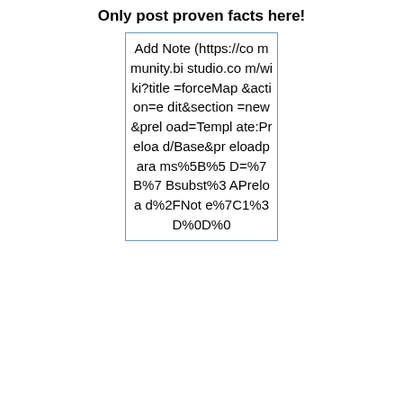Only post proven facts here!
Add Note (https://community.bistudio.com/wiki?title=forceMap&action=edit&section=new&preload=Template:Preload/Base&preloadparams%5B%5D=%7B%7Bsubst%3APreload%2FNote%7C1%3D%0D%0